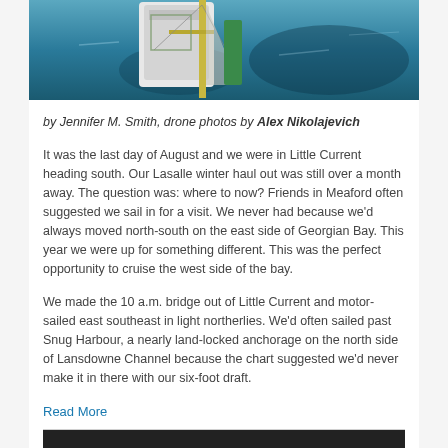[Figure (photo): Aerial drone photo of a sailboat on dark teal water, viewed from above showing the deck, mast, and rigging]
by Jennifer M. Smith, drone photos by Alex Nikolajevich
It was the last day of August and we were in Little Current heading south. Our Lasalle winter haul out was still over a month away. The question was: where to now? Friends in Meaford often suggested we sail in for a visit. We never had because we'd always moved north-south on the east side of Georgian Bay. This year we were up for something different. This was the perfect opportunity to cruise the west side of the bay.
We made the 10 a.m. bridge out of Little Current and motor-sailed east southeast in light northerlies. We'd often sailed past Snug Harbour, a nearly land-locked anchorage on the north side of Lansdowne Channel because the chart suggested we'd never make it in there with our six-foot draft.
Read More
[Figure (photo): Bottom portion of another photo, dark background visible at the very bottom of the page]